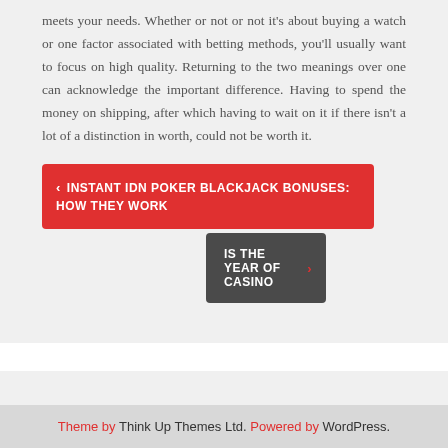meets your needs. Whether or not or not it's about buying a watch or one factor associated with betting methods, you'll usually want to focus on high quality. Returning to the two meanings over one can acknowledge the important difference. Having to spend the money on shipping, after which having to wait on it if there isn't a lot of a distinction in worth, could not be worth it.
‹ INSTANT IDN POKER BLACKJACK BONUSES: HOW THEY WORK
IS THE YEAR OF CASINO ›
Theme by Think Up Themes Ltd. Powered by WordPress.